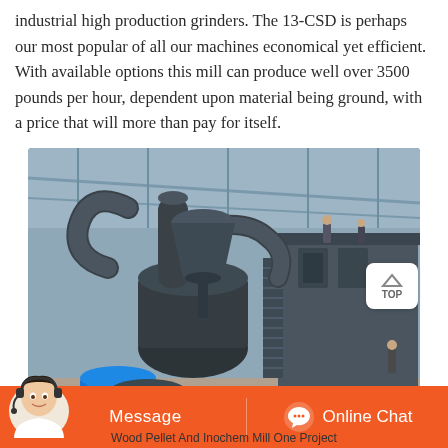industrial high production grinders. The 13-CSD is perhaps our most popular of all our machines economical yet efficient. With available options this mill can produce well over 3500 pounds per hour, dependent upon material being ground, with a price that will more than pay for itself.
[Figure (photo): Large industrial grinding mill machine inside a warehouse/factory. The machine has large black cylindrical pipes, ducts, a blue motor at the base, metal staircases, and a conveyor system. Workers visible on an elevated platform. Steel-frame building with corrugated metal roof.]
[Figure (other): Orange bottom bar with Message button on the left and Online Chat button with headset icon on the right. A customer service representative avatar with headset overlaps the left side.]
Wood Pellet And Inochem Mill One Project